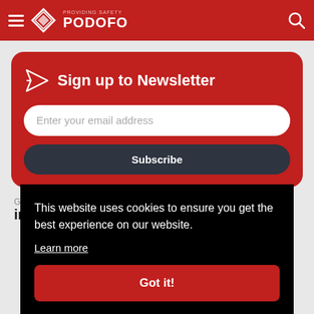PODOFO
Sign up to Newsletter
Enter your email address
Subscribe
Got q
info
This website uses cookies to ensure you get the best experience on our website.
Learn more
Got it!